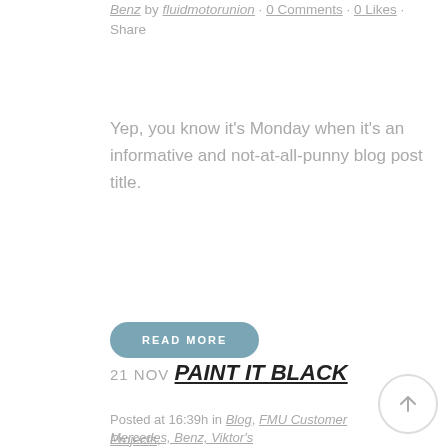Benz by fluidmotorunion · 0 Comments · 0 Likes · Share
Yep, you know it's Monday when it's an informative and not-at-all-punny blog post title.
READ MORE
21 NOV PAINT IT BLACK
Posted at 16:39h in Blog, FMU Customer Projects,
Mercedes, Benz, Viktor's